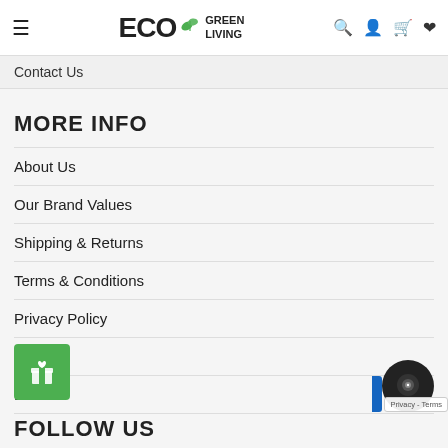ECO GREEN LIVING
Contact Us
MORE INFO
About Us
Our Brand Values
Shipping & Returns
Terms & Conditions
Privacy Policy
FAQ
B...
FOLLOW US